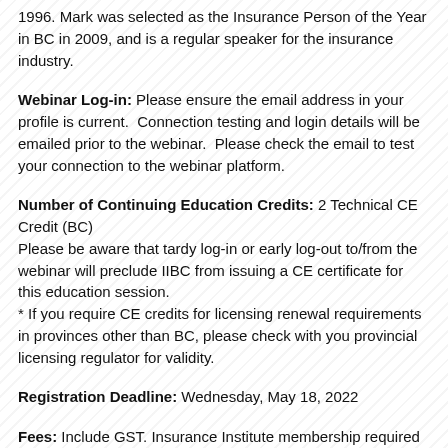1996. Mark was selected as the Insurance Person of the Year in BC in 2009, and is a regular speaker for the insurance industry.
Webinar Log-in: Please ensure the email address in your profile is current. Connection testing and login details will be emailed prior to the webinar. Please check the email to test your connection to the webinar platform.
Number of Continuing Education Credits: 2 Technical CE Credit (BC)
Please be aware that tardy log-in or early log-out to/from the webinar will preclude IIBC from issuing a CE certificate for this education session.
* If you require CE credits for licensing renewal requirements in provinces other than BC, please check with you provincial licensing regulator for validity.
Registration Deadline: Wednesday, May 18, 2022
Fees: Include GST. Insurance Institute membership required
$75 IIBC Member
+$90 Insurance Institute membership for New Members
(membership extended from current year to expire May 31, 2023 ,